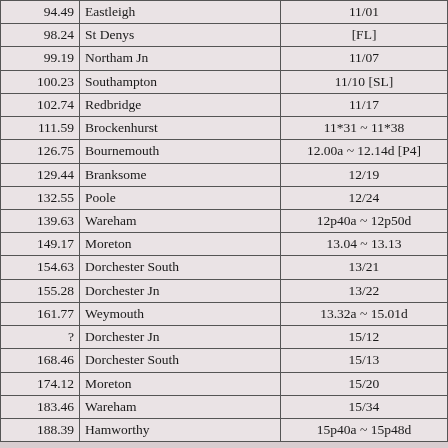| 94.49 | Eastleigh | 11/01 |
| 98.24 | St Denys | [FL] |
| 99.19 | Northam Jn | 11/07 |
| 100.23 | Southampton | 11/10 [SL] |
| 102.74 | Redbridge | 11/17 |
| 111.59 | Brockenhurst | 11*31 ~ 11*38 |
| 126.75 | Bournemouth | 12.00a ~ 12.14d [P4] |
| 129.44 | Branksome | 12/19 |
| 132.55 | Poole | 12/24 |
| 139.63 | Wareham | 12p40a ~ 12p50d |
| 149.17 | Moreton | 13.04 ~ 13.13 |
| 154.63 | Dorchester South | 13/21 |
| 155.28 | Dorchester Jn | 13/22 |
| 161.77 | Weymouth | 13.32a ~ 15.01d |
| ? | Dorchester Jn | 15/12 |
| 168.46 | Dorchester South | 15/13 |
| 174.12 | Moreton | 15/20 |
| 183.46 | Wareham | 15/34 |
| 188.39 | Hamworthy | 15p40a ~ 15p48d |